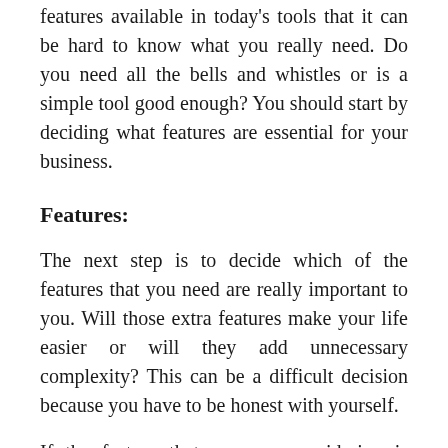features available in today's tools that it can be hard to know what you really need. Do you need all the bells and whistles or is a simple tool good enough? You should start by deciding what features are essential for your business.
Features:
The next step is to decide which of the features that you need are really important to you. Will those extra features make your life easier or will they add unnecessary complexity? This can be a difficult decision because you have to be honest with yourself.
If the feature that you are considering is something that you think would be nice to have, but will not really change your life in a significant...